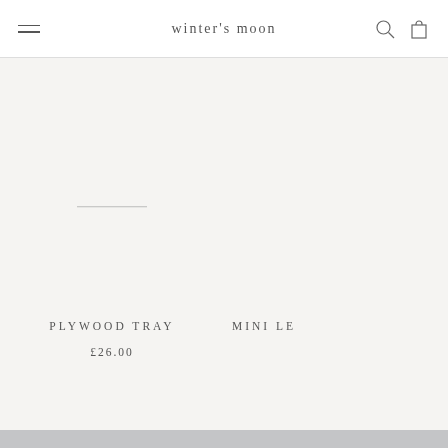winter's moon
[Figure (other): Product listing screenshot from Winter's Moon e-commerce shop showing a plywood tray product and partially visible mini le product to the right. Light gray background with product placeholder area in center.]
PLYWOOD TRAY
£26.00
MINI LE